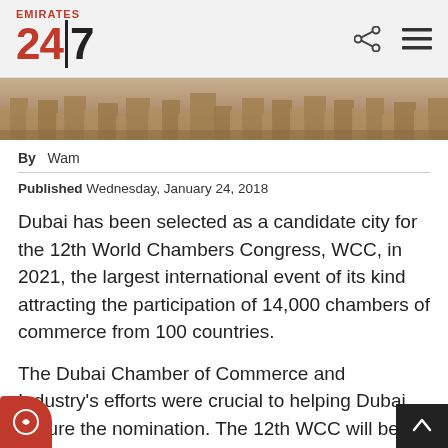Emirates 24|7
[Figure (photo): Aerial view of Dubai cityscape in sepia/golden tone showing urban buildings and streets]
By  Wam
Published Wednesday, January 24, 2018
Dubai has been selected as a candidate city for the 12th World Chambers Congress, WCC, in 2021, the largest international event of its kind attracting the participation of 14,000 chambers of commerce from 100 countries.
The Dubai Chamber of Commerce and Industry's efforts were crucial to helping Dubai secure the nomination. The 12th WCC will be hosted in the